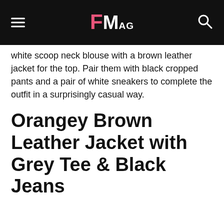FMag
white scoop neck blouse with a brown leather jacket for the top. Pair them with black cropped pants and a pair of white sneakers to complete the outfit in a surprisingly casual way.
Orangey Brown Leather Jacket with Grey Tee & Black Jeans